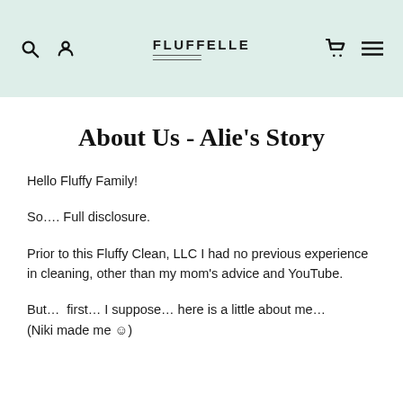FLUFFELLE
About Us - Alie's Story
Hello Fluffy Family!
So…. Full disclosure.
Prior to this Fluffy Clean, LLC I had no previous experience in cleaning, other than my mom's advice and YouTube.
But…  first… I suppose… here is a little about me… (Niki made me ☺)